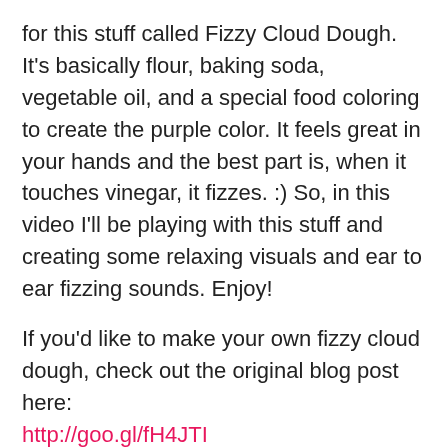for this stuff called Fizzy Cloud Dough. It's basically flour, baking soda, vegetable oil, and a special food coloring to create the purple color. It feels great in your hands and the best part is, when it touches vinegar, it fizzes. :) So, in this video I'll be playing with this stuff and creating some relaxing visuals and ear to ear fizzing sounds. Enjoy!
If you'd like to make your own fizzy cloud dough, check out the original blog post here: http://goo.gl/fH4JTI
Also, here's a link to my recent video thanking you guys for your incredible support and honest feedback of my latest 360° video. I also share an update regarding GentleWhispering's new 360° video and PixelWhipt's official Facebook page: https://goo.gl/MBLfs4